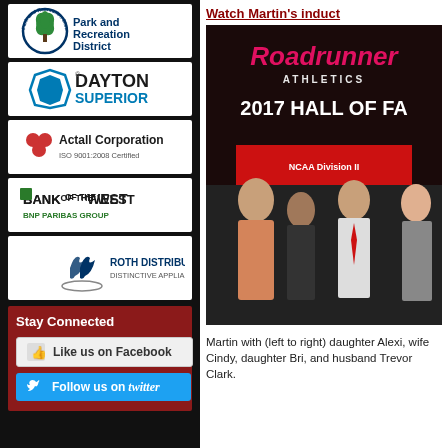[Figure (logo): Park and Recreation District circular logo with tree/leaf design]
[Figure (logo): Dayton Superior logo]
[Figure (logo): Actall Corporation ISO 9001:2008 Certified logo]
[Figure (logo): Bank of the West BNP Paribas Group logo]
[Figure (logo): Roth Distributing Distinctive Appliances logo]
Stay Connected
Like us on Facebook
Follow us on Twitter
Watch Martin's induct
[Figure (photo): Photo of Martin with family at 2017 Hall of Fame event, Roadrunner Athletics backdrop]
Martin with (left to right) daughter Alexi, wife Cindy, daughter Bri, and husband Trevor Clark.